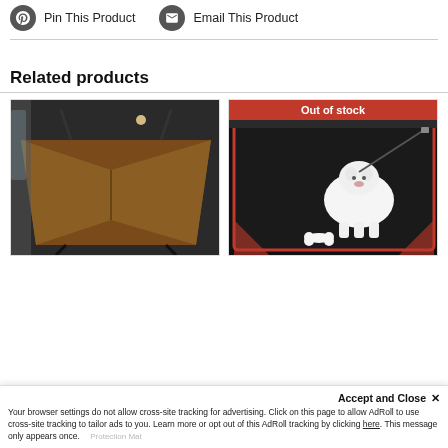[Figure (other): Pinterest logo icon button - Pin This Product]
Pin This Product
[Figure (other): Email envelope icon button - Email This Product]
Email This Product
Related products
[Figure (photo): Brown/tan dog car seat hammock cover installed in backseat of vehicle]
[Figure (photo): Black car boot/trunk liner with red trim, white dog sitting on it, 'Out of stock' banner]
Accept and Close ×
Your browser settings do not allow cross-site tracking for advertising. Click on this page to allow AdRoll to use cross-site tracking to tailor ads to you. Learn more or opt out of this AdRoll tracking by clicking here. This message only appears once.
Protection Mat